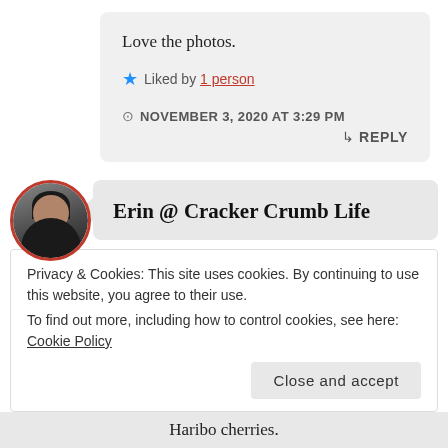Love the photos.
★ Liked by 1 person
NOVEMBER 3, 2020 AT 3:29 PM
↳ REPLY
Erin @ Cracker Crumb Life
Privacy & Cookies: This site uses cookies. By continuing to use this website, you agree to their use.
To find out more, including how to control cookies, see here: Cookie Policy
Close and accept
Haribo cherries.